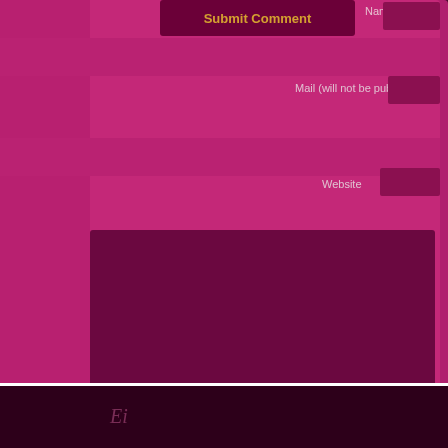[Figure (screenshot): A web form UI cropped view showing a comment submission form with magenta/purple color scheme. Contains a 'Submit Comment' button in dark maroon with gold text, input fields for Name*, Mail (will not be published)*, and Website, a large comment textarea, and form sections. The background is deep magenta/purple. A dark footer bar is partially visible at the bottom.]